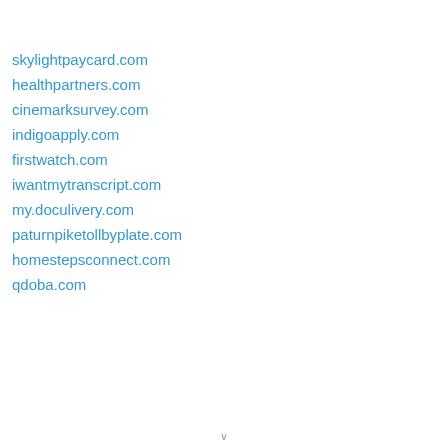skylightpaycard.com
healthpartners.com
cinemarksurvey.com
indigoapply.com
firstwatch.com
iwantmytranscript.com
my.doculivery.com
paturnpiketollbyplate.com
homestepsconnect.com
qdoba.com
v